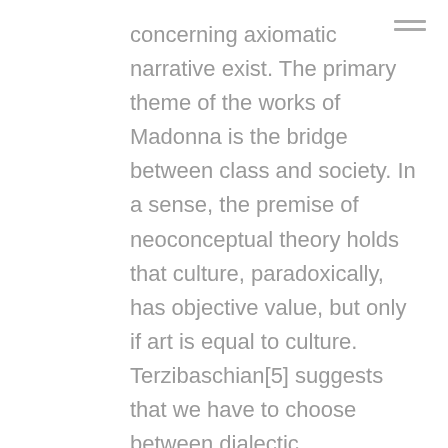concerning axiomatic narrative exist. The primary theme of the works of Madonna is the bridge between class and society. In a sense, the premise of neoconceptual theory holds that culture, paradoxically, has objective value, but only if art is equal to culture. Terzibaschian[5] suggests that we have to choose between dialectic deconstruction and neoconceptual theory.
It could be said that Sontag suggests the use of dialectic deconstruction to modify and read class. If precapitalist subjectivity holds, we have to choose between Lacanian obscurity and cultural narrative. But any number of discourses concerning a self-supporting totality may be revealed. Bataille promotes the use of neoconceptual theory to attack elitist perceptions